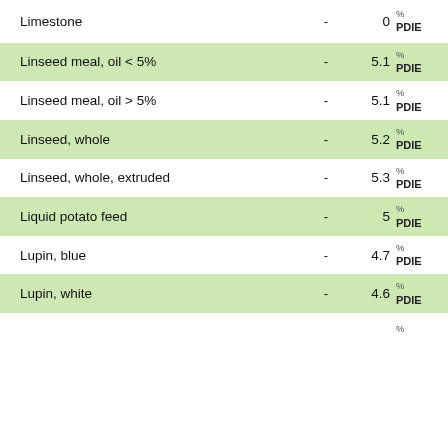| Feed ingredient | – | Value | Unit |
| --- | --- | --- | --- |
| Limestone | - | 0 | % / PDIE |
| Linseed meal, oil < 5% | - | 5.1 | % / PDIE |
| Linseed meal, oil > 5% | - | 5.1 | % / PDIE |
| Linseed, whole | - | 5.2 | % / PDIE |
| Linseed, whole, extruded | - | 5.3 | % / PDIE |
| Liquid potato feed | - | 5 | % / PDIE |
| Lupin, blue | - | 4.7 | % / PDIE |
| Lupin, white | - | 4.6 | % / PDIE |